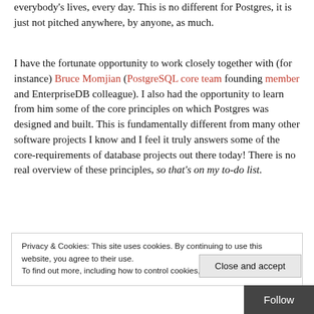everybody's lives, every day. This is no different for Postgres, it is just not pitched anywhere, by anyone, as much.
I have the fortunate opportunity to work closely together with (for instance) Bruce Momjian (PostgreSQL core team founding member and EnterpriseDB colleague). I also had the opportunity to learn from him some of the core principles on which Postgres was designed and built. This is fundamentally different from many other software projects I know and I feel it truly answers some of the core-requirements of database projects out there today! There is no real overview of these principles, so that's on my to-do list.
Privacy & Cookies: This site uses cookies. By continuing to use this website, you agree to their use. To find out more, including how to control cookies, see here: Cookie Policy
Close and accept
Follow